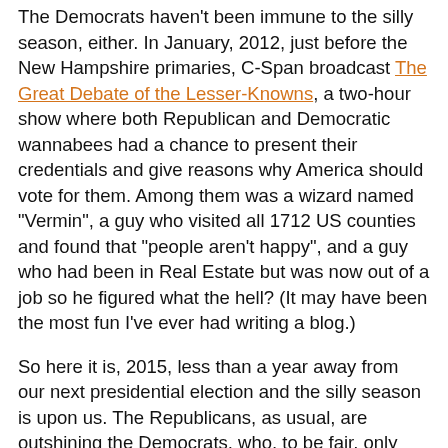The Democrats haven't been immune to the silly season, either. In January, 2012, just before the New Hampshire primaries, C-Span broadcast The Great Debate of the Lesser-Knowns, a two-hour show where both Republican and Democratic wannabees had a chance to present their credentials and give reasons why America should vote for them. Among them was a wizard named "Vermin", a guy who visited all 1712 US counties and found that "people aren't happy", and a guy who had been in Real Estate but was now out of a job so he figured what the hell?  (It may have been the most fun I've ever had writing a blog.)
So here it is, 2015, less than a year away from our next presidential election and the silly season is upon us.  The Republicans, as usual, are outshining the Democrats, who, to be fair, only have three candidates in the running, all bona fide politicians.  They're way too boring for the pundits, who, if they were honest, would admit what they really want is a burlesque show.  Show us some skin!  We want pratfalls!  Where are the comics?
Contrast the Democrats with the Republicans who, as of this